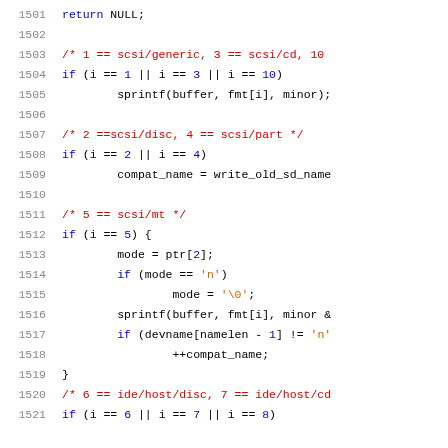Source code listing lines 1501-1521
1501: return NULL;
1502: (blank)
1503: /* 1 == scsi/generic, 3 == scsi/cd, 10
1504: if (i == 1 || i == 3 || i == 10)
1505:     sprintf(buffer, fmt[i], minor);
1506: (blank)
1507: /* 2 ==scsi/disc, 4 == scsi/part */
1508: if (i == 2 || i == 4)
1509:     compat_name = write_old_sd_name
1510: (blank)
1511: /* 5 == scsi/mt */
1512: if (i == 5) {
1513:     mode = ptr[2];
1514:     if (mode == 'n')
1515:         mode = '\0';
1516:     sprintf(buffer, fmt[i], minor &
1517:     if (devname[namelen - 1] != 'n'
1518:         ++compat_name;
1519: }
1520: /* 6 == ide/host/disc, 7 == ide/host/cd
1521: if (i == 6 || i == 7 || i == 8)